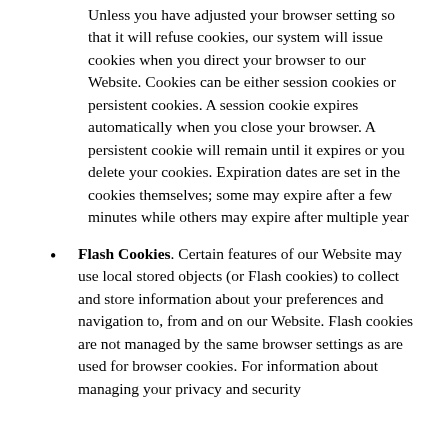Unless you have adjusted your browser setting so that it will refuse cookies, our system will issue cookies when you direct your browser to our Website. Cookies can be either session cookies or persistent cookies. A session cookie expires automatically when you close your browser. A persistent cookie will remain until it expires or you delete your cookies. Expiration dates are set in the cookies themselves; some may expire after a few minutes while others may expire after multiple year
Flash Cookies. Certain features of our Website may use local stored objects (or Flash cookies) to collect and store information about your preferences and navigation to, from and on our Website. Flash cookies are not managed by the same browser settings as are used for browser cookies. For information about managing your privacy and security